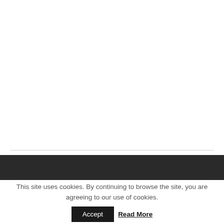This site uses cookies. By continuing to browse the site, you are agreeing to our use of cookies. Accept Read More